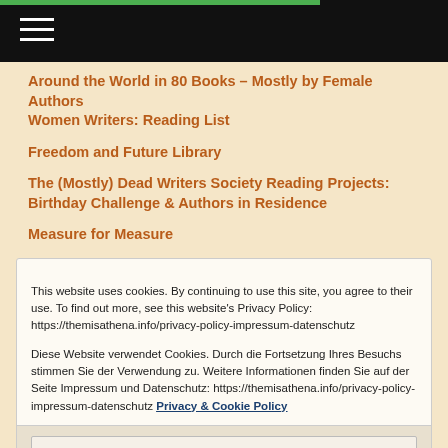Around the World in 80 Books – Mostly by Female Authors
Women Writers: Reading List
Freedom and Future Library
The (Mostly) Dead Writers Society Reading Projects: Birthday Challenge & Authors in Residence
Measure for Measure
This website uses cookies. By continuing to use this site, you agree to their use. To find out more, see this website's Privacy Policy: https://themisathena.info/privacy-policy-impressum-datenschutz

Diese Website verwendet Cookies. Durch die Fortsetzung Ihres Besuchs stimmen Sie der Verwendung zu. Weitere Informationen finden Sie auf der Seite Impressum und Datenschutz: https://themisathena.info/privacy-policy-impressum-datenschutz Privacy & Cookie Policy
Close and accept
Little Grey Cells: St. Mary Mead & Elsewhere